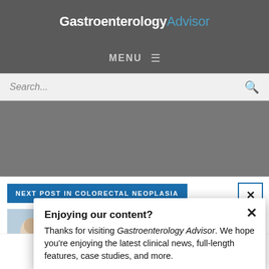GastroenterologyAdvisor
MENU ≡
Search...
Enjoying our content?
Thanks for visiting Gastroenterology Advisor. We hope you're enjoying the latest clinical news, full-length features, case studies, and more.
NEXT POST IN COLORECTAL NEOPLASIA
In-Utero Events Are Important Risk Factors for Colorectal Cancer in Adult Offspring
LOGIN   REGISTER